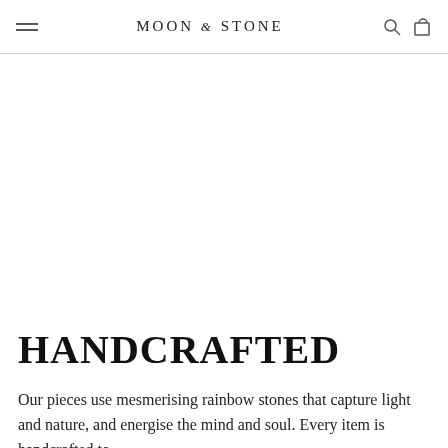MOON & STONE
HANDCRAFTED
Our pieces use mesmerising rainbow stones that capture light and nature, and energise the mind and soul. Every item is handcrafted to